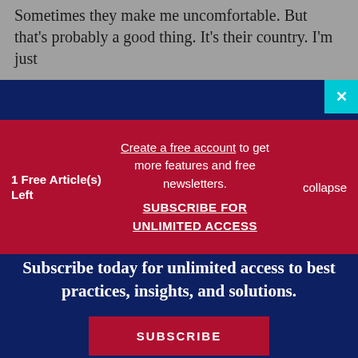Sometimes they make me uncomfortable. But that's probably a good thing. It's their country. I'm just
1 Free Article(s) Left
Create a free account to get more features and free newsletters. SUBSCRIBE FOR UNLIMITED ACCESS
collapse
Subscribe today for unlimited access to best practices, insights, and solutions.
SUBSCRIBE